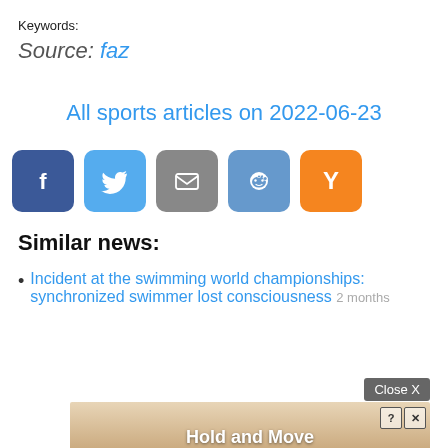Keywords:
Source: faz
All sports articles on 2022-06-23
[Figure (other): Social share buttons: Facebook (dark blue), Twitter (light blue), Email (gray), Reddit (steel blue), Hacker News Y (orange)]
Similar news:
Incident at the swimming world championships: synchronized swimmer lost consciousness 2 months
Close X
[Figure (screenshot): Advertisement banner showing cartoon figures and text 'Hold and Move' with close/info icons]